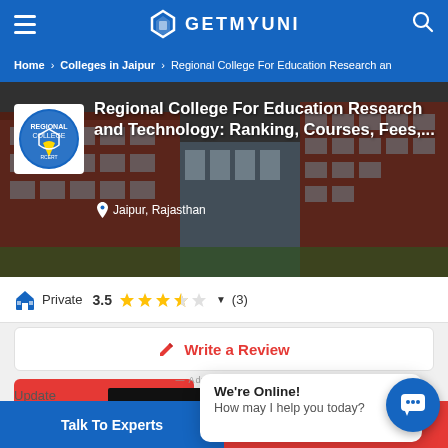GETMYUNI
Home > Colleges in Jaipur > Regional College For Education Research an
[Figure (photo): Hero banner of Regional College For Education Research and Technology building with college logo overlay]
Regional College For Education Research and Technology: Ranking, Courses, Fees,...
Jaipur, Rajasthan
Private  3.5 ★★★★☆ ▼ (3)
✎ Write a Review
We're Online!
How may I help you today?
— Advertisement —
Update
[Figure (screenshot): Pearl Academy advertisement banner: Admission Open 2022, 2 Year PG program in Accessory Design, Apply Now button]
Talk To Experts
Apply Now